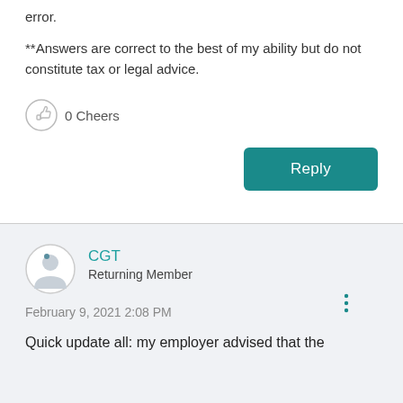error.
**Answers are correct to the best of my ability but do not constitute tax or legal advice.
0 Cheers
[Figure (illustration): Reply button — teal rounded rectangle with white text 'Reply']
CGT
Returning Member
February 9, 2021 2:08 PM
Quick update all: my employer advised that the